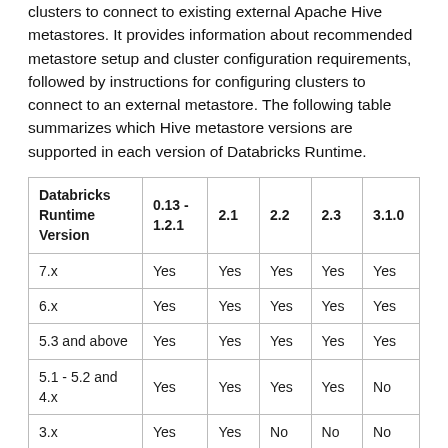clusters to connect to existing external Apache Hive metastores. It provides information about recommended metastore setup and cluster configuration requirements, followed by instructions for configuring clusters to connect to an external metastore. The following table summarizes which Hive metastore versions are supported in each version of Databricks Runtime.
| Databricks Runtime Version | 0.13 - 1.2.1 | 2.1 | 2.2 | 2.3 | 3.1.0 |
| --- | --- | --- | --- | --- | --- |
| 7.x | Yes | Yes | Yes | Yes | Yes |
| 6.x | Yes | Yes | Yes | Yes | Yes |
| 5.3 and above | Yes | Yes | Yes | Yes | Yes |
| 5.1 - 5.2 and 4.x | Yes | Yes | Yes | Yes | No |
| 3.x | Yes | Yes | No | No | No |